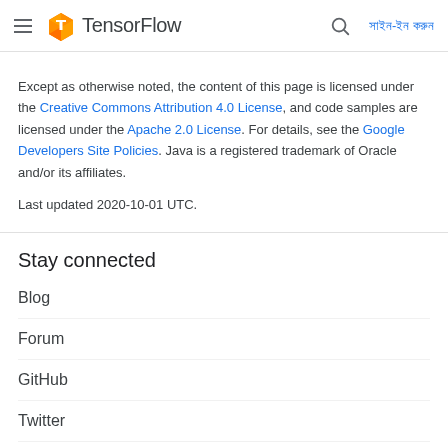TensorFlow — সাইন-ইন করুন
Except as otherwise noted, the content of this page is licensed under the Creative Commons Attribution 4.0 License, and code samples are licensed under the Apache 2.0 License. For details, see the Google Developers Site Policies. Java is a registered trademark of Oracle and/or its affiliates.
Last updated 2020-10-01 UTC.
Stay connected
Blog
Forum
GitHub
Twitter
YouTube